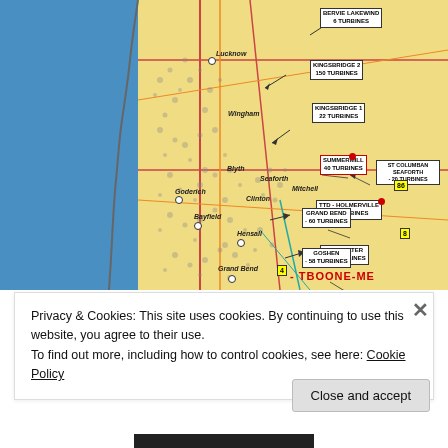[Figure (map): Map showing wind farm locations along the coast of Ontario/Canada including Kingsbridge, Summermill, TTD-Holmerville, Bluewater, St Columban Seaforth, Grand Bend, and Goshen turbine sites marked with label boxes and arrows on a yellow land/blue sea map background]
Privacy & Cookies: This site uses cookies. By continuing to use this website, you agree to their use.
To find out more, including how to control cookies, see here: Cookie Policy
Close and accept